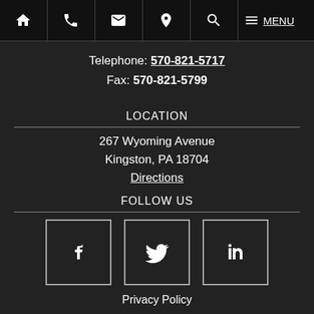Navigation bar with icons: home, phone, email, location, search, menu | MENU
Telephone: 570-821-5717
Fax: 570-821-5799
LOCATION
267 Wyoming Avenue
Kingston, PA 18704
Directions
FOLLOW US
[Figure (infographic): Three social media icon boxes: Facebook (f), Twitter (bird), LinkedIn (in)]
Privacy Policy